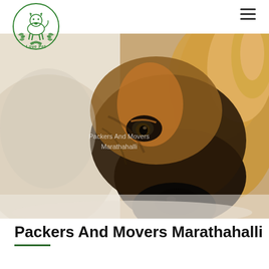[Figure (logo): Circular green logo with a dog silhouette and text 'Love Pet', surrounded by leaf/branch decorative border]
[Figure (photo): Close-up photograph of a German Shepherd dog's face resting on a white surface, looking at camera with soulful eyes. Watermark text reads 'Packers And Movers Marathahalli' overlaid on the photo.]
Packers And Movers Marathahalli